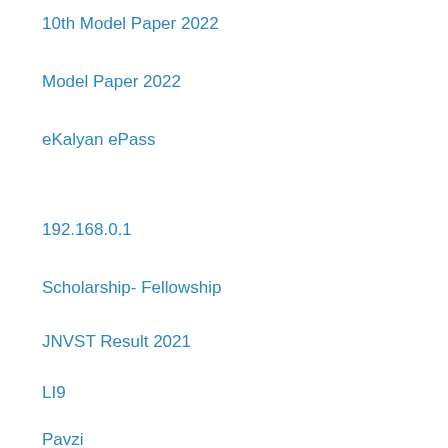10th Model Paper 2022
Model Paper 2022
eKalyan ePass
192.168.0.1
Scholarship- Fellowship
JNVST Result 2021
LI9
Pavzi
Happy New Year Wishes 2022